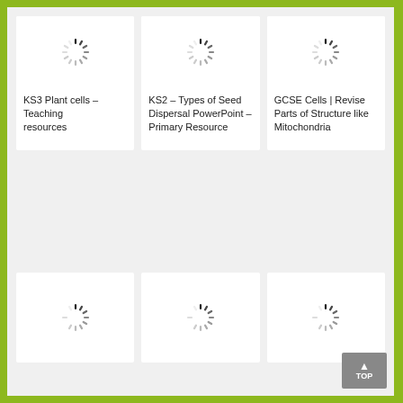[Figure (screenshot): Loading spinner icon for KS3 Plant cells teaching resource thumbnail]
KS3 Plant cells – Teaching resources
[Figure (screenshot): Loading spinner icon for KS2 Types of Seed Dispersal PowerPoint Primary Resource thumbnail]
KS2 – Types of Seed Dispersal PowerPoint – Primary Resource
[Figure (screenshot): Loading spinner icon for GCSE Cells Revise Parts of Structure like Mitochondria thumbnail]
GCSE Cells | Revise Parts of Structure like Mitochondria
[Figure (screenshot): Loading spinner icon for bottom row card 1]
[Figure (screenshot): Loading spinner icon for bottom row card 2]
[Figure (screenshot): Loading spinner icon for bottom row card 3]